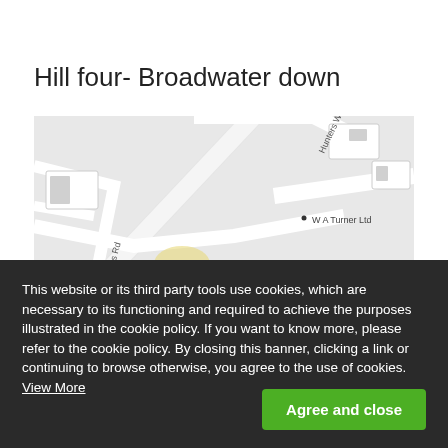Hill four- Broadwater down
[Figure (map): Street map showing Hunters Way and W A Turner Ltd location in Broadwater Down area]
This website or its third party tools use cookies, which are necessary to its functioning and required to achieve the purposes illustrated in the cookie policy. If you want to know more, please refer to the cookie policy. By closing this banner, clicking a link or continuing to browse otherwise, you agree to the use of cookies. View More
Agree and close